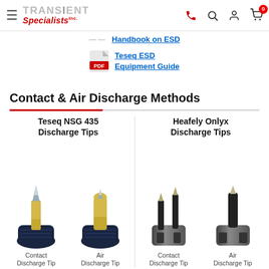TRANSIENT Specialists Inc. — Navigation bar with menu, phone, search, account, cart icons
Handbook on ESD
Teseq ESD Equipment Guide
Contact & Air Discharge Methods
[Figure (photo): Four ESD discharge tips: Teseq NSG 435 Contact Discharge Tip (yellow/black), Teseq NSG 435 Air Discharge Tip (yellow/black), Heafely Onlyx Contact Discharge Tip (dark metal two-prong), Heafely Onlyx Air Discharge Tip (dark metal single prong). Labels below each tip.]